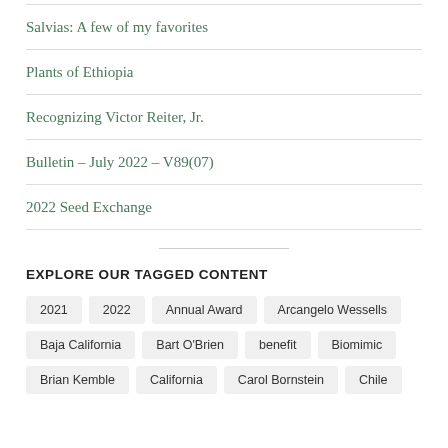Salvias: A few of my favorites
Plants of Ethiopia
Recognizing Victor Reiter, Jr.
Bulletin – July 2022 – V89(07)
2022 Seed Exchange
EXPLORE OUR TAGGED CONTENT
2021  2022  Annual Award  Arcangelo Wessells  Baja California  Bart O'Brien  benefit  Biomimic  Brian Kemble  California  Carol Bornstein  Chile